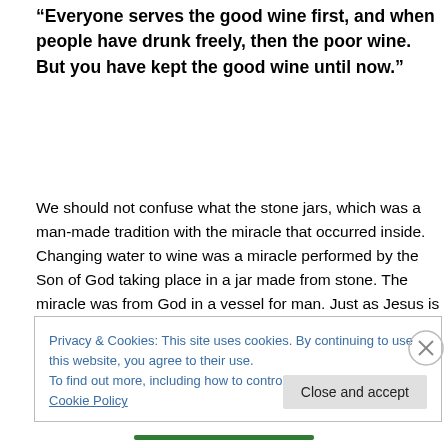“Everyone serves the good wine first, and when people have drunk freely, then the poor wine. But you have kept the good wine until now.”
We should not confuse what the stone jars, which was a man-made tradition with the miracle that occurred inside. Changing water to wine was a miracle performed by the Son of God taking place in a jar made from stone. The miracle was from God in a vessel for man. Just as Jesus is God expressed in the vessel of a man, or the Word made flesh.
Privacy & Cookies: This site uses cookies. By continuing to use this website, you agree to their use.
To find out more, including how to control cookies, see here: Cookie Policy
Close and accept